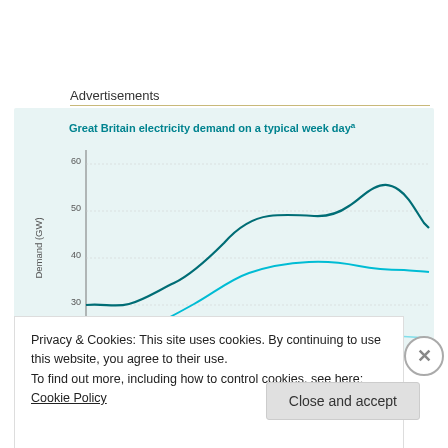Advertisements
[Figure (continuous-plot): Line chart showing Great Britain electricity demand on a typical week day. Multiple curves in teal/dark teal showing demand in GW (y-axis 20-60 GW range) across a time period. Curves show morning rise, midday plateau, evening peak around 55 GW, and decline.]
Privacy & Cookies: This site uses cookies. By continuing to use this website, you agree to their use.
To find out more, including how to control cookies, see here: Cookie Policy
Close and accept